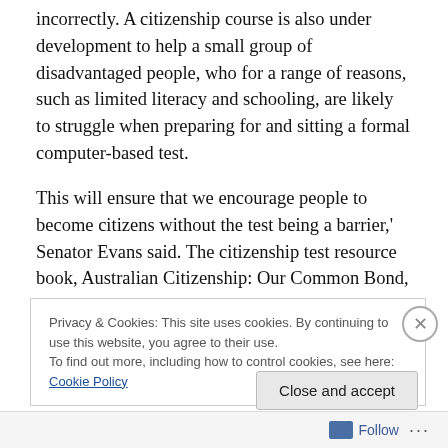incorrectly. A citizenship course is also under development to help a small group of disadvantaged people, who for a range of reasons, such as limited literacy and schooling, are likely to struggle when preparing for and sitting a formal computer-based test.
This will ensure that we encourage people to become citizens without the test being a barrier,' Senator Evans said. The citizenship test resource book, Australian Citizenship: Our Common Bond, and practice citizenship test are available online.
Privacy & Cookies: This site uses cookies. By continuing to use this website, you agree to their use.
To find out more, including how to control cookies, see here: Cookie Policy
Close and accept
Follow